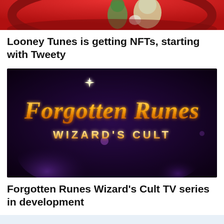[Figure (illustration): Looney Tunes characters (including Tweety bird and others) on a red circular background, partially cropped at top of page]
Looney Tunes is getting NFTs, starting with Tweety
[Figure (illustration): Dark fantasy logo image showing 'Forgotten Runes Wizard's Cult' in golden ornate lettering on a dark purple/black background with magical sparkle effects]
Forgotten Runes Wizard's Cult TV series in development